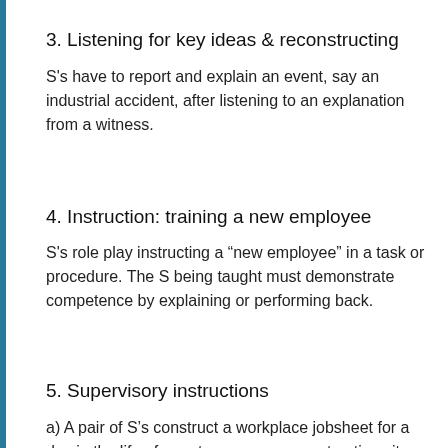3. Listening for key ideas & reconstructing
S's have to report and explain an event, say an industrial accident, after listening to an explanation from a witness.
4. Instruction: training a new employee
S's role play instructing a “new employee” in a task or procedure. The S being taught must demonstrate competence by explaining or performing back.
5. Supervisory instructions
a) A pair of S’s construct a workplace jobsheet for a day in the life of a motor garage, a construction site, or some